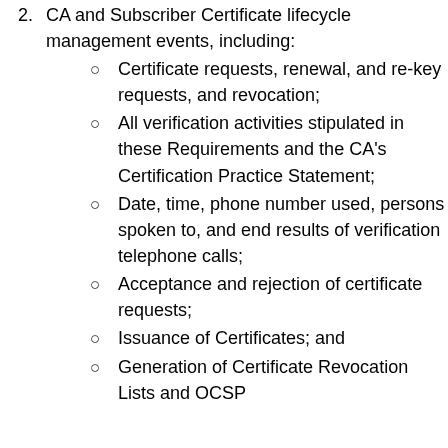2. CA and Subscriber Certificate lifecycle management events, including:
Certificate requests, renewal, and re-key requests, and revocation;
All verification activities stipulated in these Requirements and the CA's Certification Practice Statement;
Date, time, phone number used, persons spoken to, and end results of verification telephone calls;
Acceptance and rejection of certificate requests;
Issuance of Certificates; and
Generation of Certificate Revocation Lists and OCSP